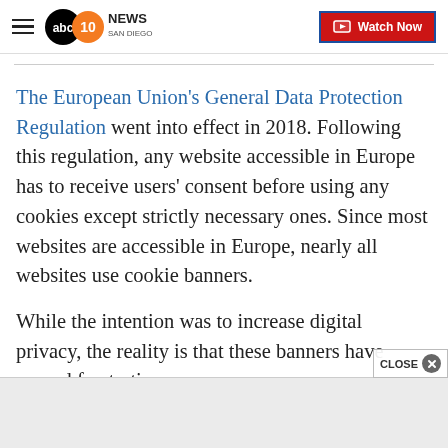ABC 10News San Diego — Watch Now
The European Union's General Data Protection Regulation went into effect in 2018. Following this regulation, any website accessible in Europe has to receive users' consent before using any cookies except strictly necessary ones. Since most websites are accessible in Europe, nearly all websites use cookie banners.
While the intention was to increase digital privacy, the reality is that these banners have caused frustratio…